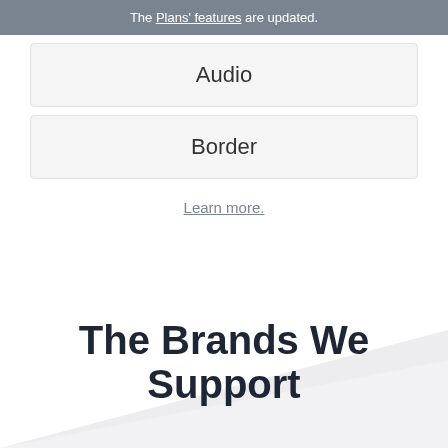The Plans' features are updated.
Audio
Border
Learn more.
The Brands We Support